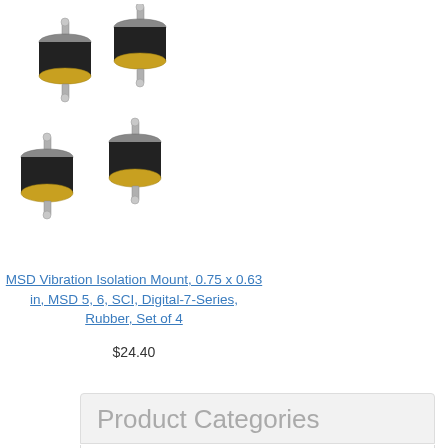[Figure (photo): Four black rubber vibration isolation mounts with metal threaded studs and metal end caps, arranged in a scattered grouping on white background]
MSD Vibration Isolation Mount, 0.75 x 0.63 in, MSD 5, 6, SCI, Digital-7-Series, Rubber, Set of 4
$24.40
Product Categories
Dirt Late Model-Crate Late Model